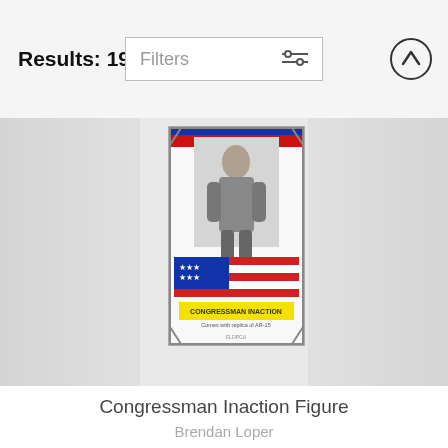Results: 19
Filters
[Figure (screenshot): Congressman Inaction Figure product image - a toy box with patriotic American flag design and a figure inside]
Congressman Inaction Figure
Brendan Loper
Please fix this tail thing
Joseph Dottino